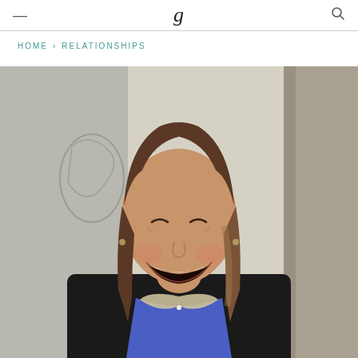— g 🔍
HOME › RELATIONSHIPS
[Figure (photo): A smiling woman with shoulder-length brown hair, wearing a black blazer over a blue blouse with a pearl-trimmed peter pan collar, laughing joyfully. Background shows a window and wall with a framed artwork.]